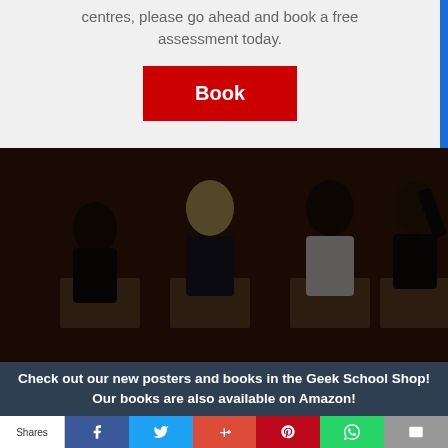centres, please go ahead and book a free assessment today.
[Figure (other): Red 'Book' button on grey background]
[Figure (photo): Students sitting at desks writing, dark overlay over the photo]
Check out our new posters and books in the Geek School Shop! Our books are also available on Amazon!
[Figure (other): Social share bar with Shares label and icons for Facebook, Twitter, Google+, Pinterest, WhatsApp, Email]